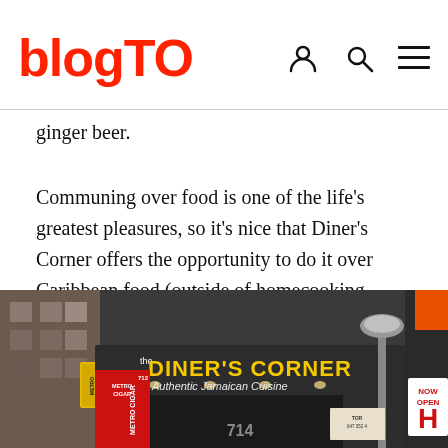blogTO
ginger beer.
Communing over food is one of the life's greatest pleasures, so it's nice that Diner's Corner offers the opportunity to do it over Caribbean food (outside of homecooking, anyway) once in a while.
[Figure (photo): Exterior storefront photo of 'The Diner's Corner — Authentic Jamaican Cuisine' restaurant at 714, with illuminated yellow signage on dark facade, adjacent Metro Cigar shop, street lamp, and 'Now Open' sign on right]